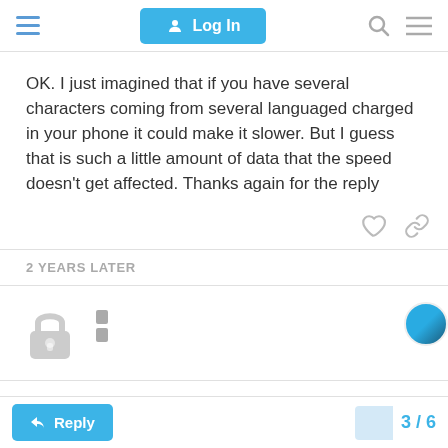Log In
OK. I just imagined that if you have several characters coming from several languaged charged in your phone it could make it slower. But I guess that is such a little amount of data that the speed doesn't get affected. Thanks again for the reply
2 YEARS LATER
[Figure (illustration): Lock icon representing a closed/locked post]
Reply  3 / 6